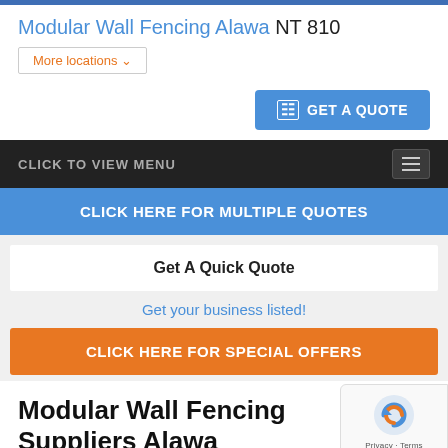Modular Wall Fencing Alawa NT 810
More locations ∨
GET A QUOTE
CLICK TO VIEW MENU
CLICK HERE FOR MULTIPLE QUOTES
Get A Quick Quote
Get your business listed!
CLICK HERE FOR SPECIAL OFFERS
Modular Wall Fencing Suppliers Alawa